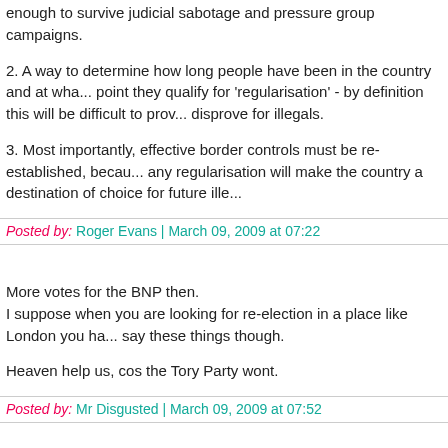enough to survive judicial sabotage and pressure group campaigns.
2. A way to determine how long people have been in the country and at what point they qualify for 'regularisation' - by definition this will be difficult to prove or disprove for illegals.
3. Most importantly, effective border controls must be re-established, because any regularisation will make the country a destination of choice for future ille...
Posted by: Roger Evans | March 09, 2009 at 07:22
More votes for the BNP then.
I suppose when you are looking for re-election in a place like London you ha... say these things though.
Heaven help us, cos the Tory Party wont.
Posted by: Mr Disgusted | March 09, 2009 at 07:52
Agree wholeheartedly with Roger Evans.Surely the objective of the exercise should be to making the deportation of illegal immigrants cheaper and more effective.Regularisation is just another word for amnesty which will make this country a bigger target for illegals.